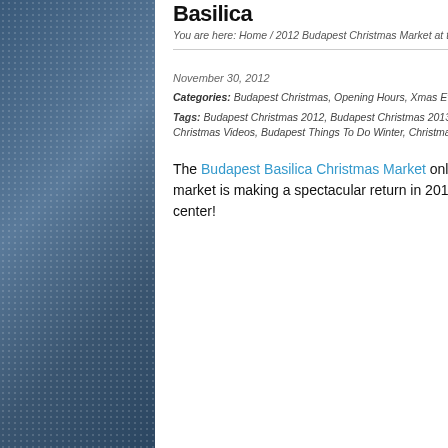Basilica
You are here: Home / 2012 Budapest Christmas Market at the St Stephen's Basilica
November 30, 2012
Categories: Budapest Christmas, Opening Hours, Xmas Events, Xmas Fairs
Tags: Budapest Christmas 2012, Budapest Christmas 2013, Budapest Christmas Market by St Stephen's Basilica, Budapest Christmas Markets, Budapest Christmas Videos, Budapest Things To Do Winter, Christmas Shows in Budapest, Hungarian Christmas Gifts
The Budapest Basilica Christmas Market only launched in 2011, but in 2012 the fantastic Advent fair and Christmas market is making a spectacular return in 2012. The fair is not to be missed, and it is conveniently located in the city center!